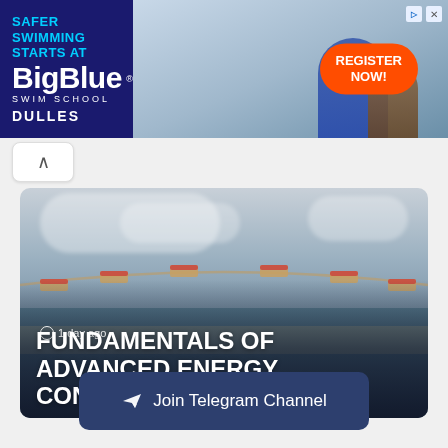[Figure (photo): BigBlue Swim School advertisement banner with dark blue background, logo, 'SAFER SWIMMING STARTS AT', 'DULLES' text, photo of instructor with child at pool, and orange 'REGISTER NOW!' button]
[Figure (photo): Aerial photograph of a solar-powered drone aircraft flying over coastline with cloudy sky background, with text overlay '1 day ago' and title 'FUNDAMENTALS OF ADVANCED ENERGY CONVERSION']
Join Telegram Channel